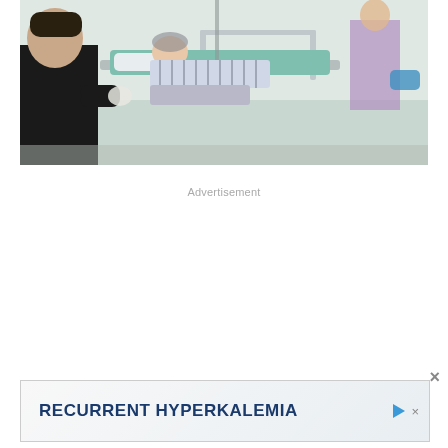[Figure (photo): Hospital scene showing a patient lying on a gurney/hospital bed with a healthcare worker in a black shirt pushing or attending to the bed. Patient is wearing striped clothing and there is a teal/green mattress visible. Background shows a hospital corridor.]
Advertisement
×
[Figure (other): Advertisement banner with dark blue bold text reading 'RECURRENT HYPERKALEMIA' with a play/arrow icon and close icon on a light gradient background.]